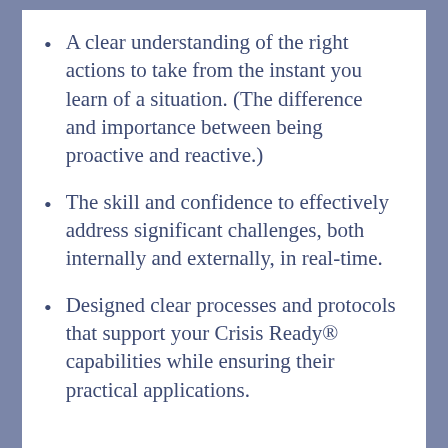A clear understanding of the right actions to take from the instant you learn of a situation. (The difference and importance between being proactive and reactive.)
The skill and confidence to effectively address significant challenges, both internally and externally, in real-time.
Designed clear processes and protocols that support your Crisis Ready® capabilities while ensuring their practical applications.